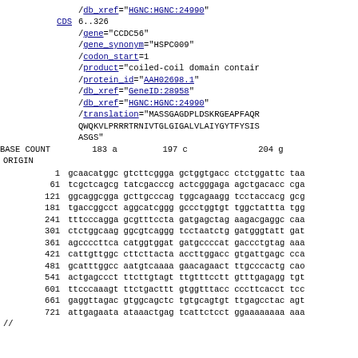/db_xref="HGNC:HGNC:24990"
CDS  6..326
/gene="CCDC56"
/gene_synonym="HSPC009"
/codon_start=1
/product="coiled-coil domain contain
/protein_id="AAH02698.1"
/db_xref="GeneID:28958"
/db_xref="HGNC:HGNC:24990"
/translation="MASSGAGDPLDSKRGEAPFAQR
QWQKVLPRRRTRNIVTGLGIGALVLAIYGYTFYSIS
ASGS"
BASE COUNT    183 a    197 c    204 g
ORIGIN
1 gcaacatggc gtcttcggga gctggtgacc ctctggattc taa
61 tcgctcagcg tatcgacccg actcgggaga agctgacacc cga
121 ggcaggcgga gcttgcccag tggcagaagg tcctaccacg gcg
181 tgaccggcct aggcatcggg gccctggtgt tggctattta tgg
241 tttcccagga gcgtttccta gatgagctag aagacgaggc caa
301 ctctggcaag ggcgtcaggg tcctaatctg gatgggtatt gat
361 agccccttca catggtggat gatgccccat gaccctgtag aaa
421 cattgttggc cttcttacta accttggacc gtgattgagc cca
481 gcatttggcc aatgtcaaaa gaacagaact ttgcccactg cao
541 actgagccct ttcttgtagt ttgtttcctt gtttgagagg tgt
601 ttcccaaagt ttctgacttt gtggtttacc cccttcacct tcc
661 gaggttagac gtggcagctc tgtgcagtgt ttgagcctac agt
721 attgagaata ataaactgag tcattctcct ggaaaaaaaa aaa
//